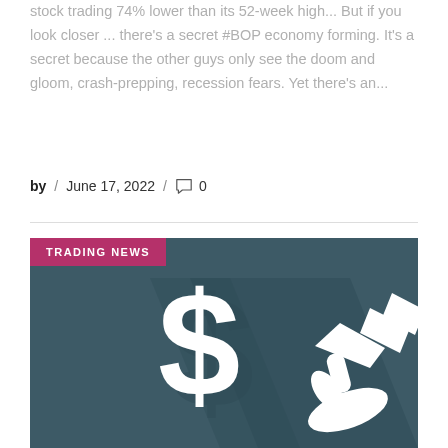stock trading 74% lower than its 52-week high... But if you look closer ... there's a secret #BOP economy forming. It's a secret because the other guys only see the doom and gloom, crash-prepping, recession fears. Yet there's an...
by / June 17, 2022 / 0
[Figure (illustration): Dark teal background image with a white dollar sign symbol and a white silhouette of a hand holding money, with a 'TRADING NEWS' pink badge in the top-left corner.]